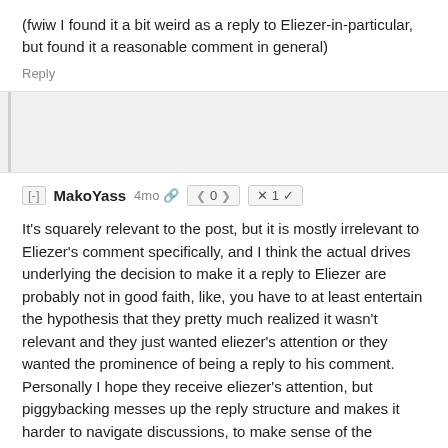(fwiw I found it a bit weird as a reply to Eliezer-in-particular, but found it a reasonable comment in general)
Reply
[-] MakoYass 4mo
It's squarely relevant to the post, but it is mostly irrelevant to Eliezer's comment specifically, and I think the actual drives underlying the decision to make it a reply to Eliezer are probably not in good faith, like, you have to at least entertain the hypothesis that they pretty much realized it wasn't relevant and they just wanted eliezer's attention or they wanted the prominence of being a reply to his comment. Personally I hope they receive eliezer's attention, but piggybacking messes up the reply structure and makes it harder to navigate discussions, to make sense of the pragmatics or find what you're looking for, which is pretty harmful. I don't think we should have a lot of patience for that.
(Eliezer/that paragraph he was quoting was about the